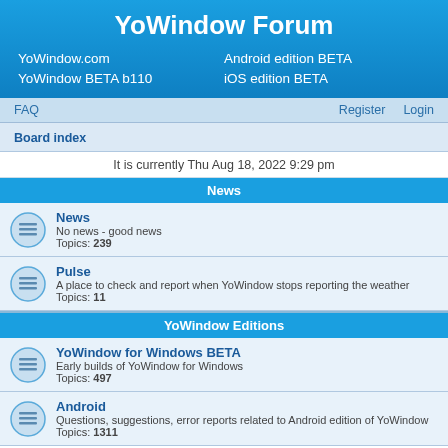YoWindow Forum
YoWindow.com
Android edition BETA
YoWindow BETA b110
iOS edition BETA
FAQ   Register   Login
Board index
It is currently Thu Aug 18, 2022 9:29 pm
News
News
No news - good news
Topics: 239
Pulse
A place to check and report when YoWindow stops reporting the weather
Topics: 11
YoWindow Editions
YoWindow for Windows BETA
Early builds of YoWindow for Windows
Topics: 497
Android
Questions, suggestions, error reports related to Android edition of YoWindow
Topics: 1311